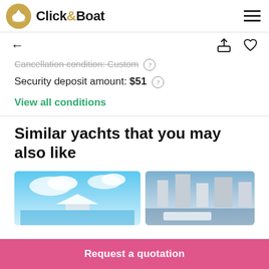Click&Boat
Cancellation condition: Custom
Security deposit amount: $51
View all conditions
Similar yachts that you may also like
[Figure (photo): Photo of a yacht on blue water with clouds]
[Figure (photo): Photo of a yacht near urban buildings]
Request a quotation